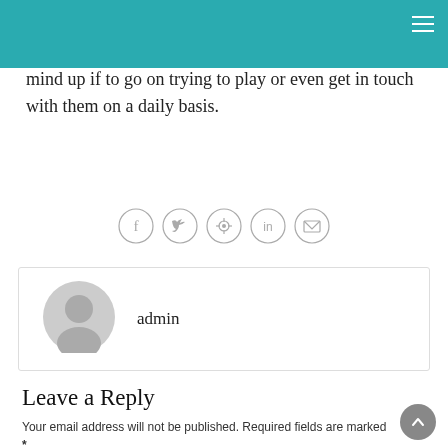mind up if to go on trying to play or even get in touch with them on a daily basis.
[Figure (infographic): Five social share icon circles: Facebook (f), Twitter (bird), Pinterest (p), LinkedIn (in), Email (envelope)]
admin
Leave a Reply
Your email address will not be published. Required fields are marked *